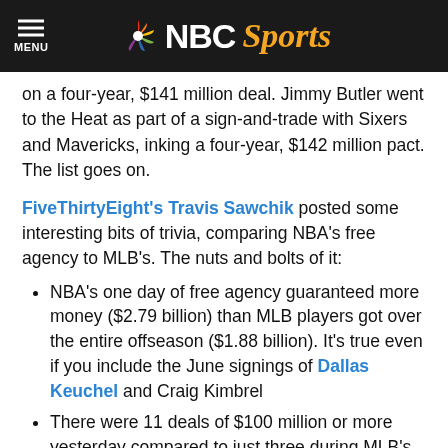NBC Sports
on a four-year, $141 million deal. Jimmy Butler went to the Heat as part of a sign-and-trade with Sixers and Mavericks, inking a four-year, $142 million pact. The list goes on.
FiveThirtyEight's Travis Sawchik posted some interesting bits of trivia, comparing NBA's free agency to MLB's. The nuts and bolts of it:
NBA's one day of free agency guaranteed more money ($2.79 billion) than MLB players got over the entire offseason ($1.88 billion). It's true even if you include the June signings of Dallas Keuchel and Craig Kimbrel
There were 11 deals of $100 million or more yesterday compared to just three during MLB's offseason (Bryce Harper, Manny Machado,